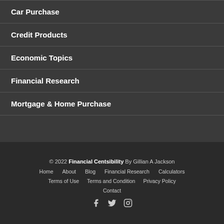Car Purchase
Credit Products
Economic Topics
Financial Research
Mortgage & Home Purchase
© 2022 Financial Centsibility By Gillian A Jackson
Home  About  Blog  Financial Research  Calculators
Terms of Use  Terms and Condition  Privacy Policy
Contact